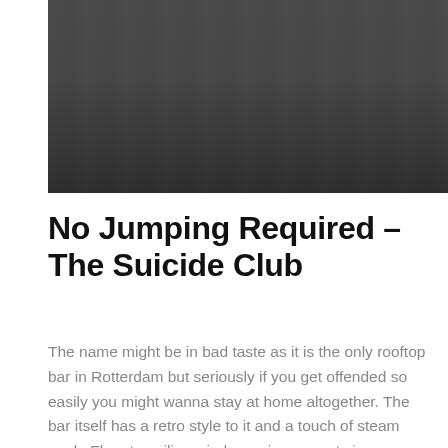[Figure (photo): Black and white photograph of a group of people standing and sitting at a bar counter with bar stools, taken in a bar/restaurant setting]
No Jumping Required – The Suicide Club
The name might be in bad taste as it is the only rooftop bar in Rotterdam but seriously if you get offended so easily you might wanna stay at home altogether. The bar itself has a retro style to it and a touch of steam punk. Floor to ceiling windows give a great view over the city and invite to stay for a drink, a dinner or a party. The coal heated grill delivers delectable dishes till midnight. What might be even more